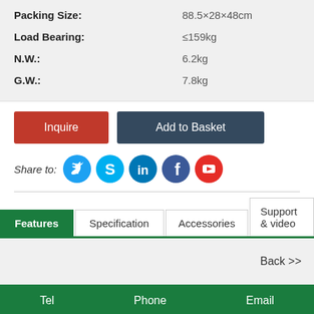| Property | Value |
| --- | --- |
| Packing Size: | 88.5×28×48cm |
| Load Bearing: | ≤159kg |
| N.W.: | 6.2kg |
| G.W.: | 7.8kg |
Inquire | Add to Basket
Share to: [Twitter] [Skype] [LinkedIn] [Facebook] [YouTube]
Features | Specification | Accessories | Support & video
Back >>
Tel   Phone   Email